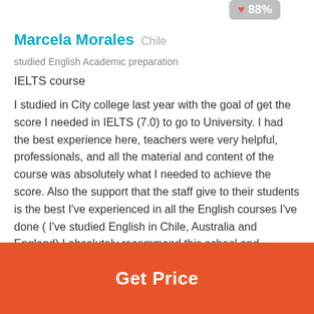[Figure (other): Heart badge showing 88% rating]
Marcela Morales  Chile  studied English Academic preparation
IELTS course
I studied in City college last year with the goal of get the score I needed in IELTS (7.0) to go to University. I had the best experience here, teachers were very helpful, professionals, and all the material and content of the course was absolutely what I needed to achieve the score. Also the support that the staff give to their students is the best I've experienced in all the English courses I've done ( I've studied English in Chile, Australia and England) I absolutely recommend this school and specially the international department.
posted 5 years ago
Get Price